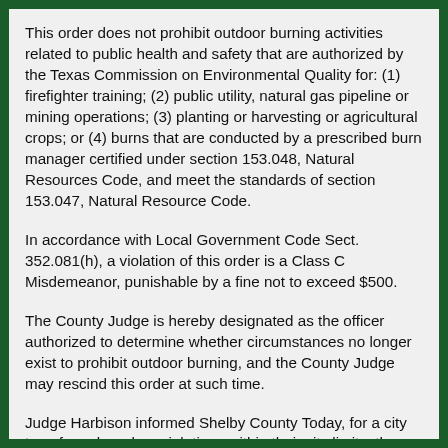This order does not prohibit outdoor burning activities related to public health and safety that are authorized by the Texas Commission on Environmental Quality for: (1) firefighter training; (2) public utility, natural gas pipeline or mining operations; (3) planting or harvesting or agricultural crops; or (4) burns that are conducted by a prescribed burn manager certified under section 153.048, Natural Resources Code, and meet the standards of section 153.047, Natural Resource Code.
In accordance with Local Government Code Sect. 352.081(h), a violation of this order is a Class C Misdemeanor, punishable by a fine not to exceed $500.
The County Judge is hereby designated as the officer authorized to determine whether circumstances no longer exist to prohibit outdoor burning, and the County Judge may rescind this order at such time.
Judge Harbison informed Shelby County Today, for a city to enforce burn ban violations within their city limits, they must adopt a burn ban order as well.